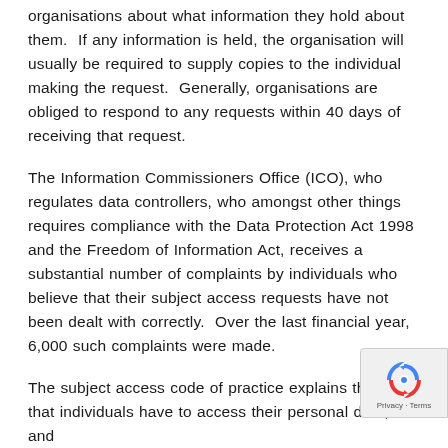organisations about what information they hold about them.  If any information is held, the organisation will usually be required to supply copies to the individual making the request.  Generally, organisations are obliged to respond to any requests within 40 days of receiving that request.
The Information Commissioners Office (ICO), who regulates data controllers, who amongst other things requires compliance with the Data Protection Act 1998 and the Freedom of Information Act, receives a substantial number of complaints by individuals who believe that their subject access requests have not been dealt with correctly.  Over the last financial year, 6,000 such complaints were made.
The subject access code of practice explains the rights that individuals have to access their personal data, and